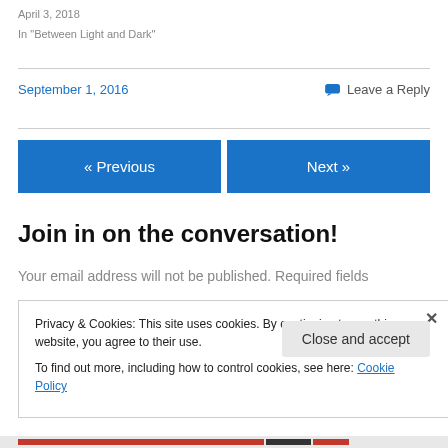April 3, 2018
In "Between Light and Dark"
September 1, 2016
Leave a Reply
« Previous
Next »
Join in on the conversation!
Your email address will not be published. Required fields
Privacy & Cookies: This site uses cookies. By continuing to use this website, you agree to their use.
To find out more, including how to control cookies, see here: Cookie Policy
Close and accept